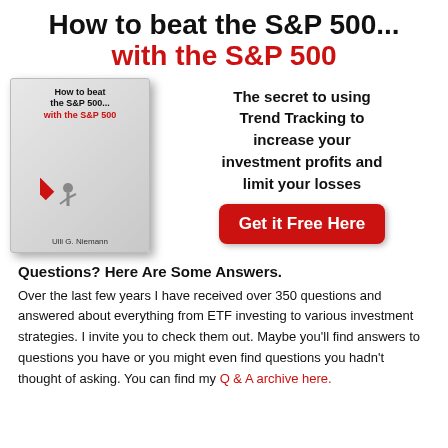How to beat the S&P 500... with the S&P 500
[Figure (illustration): Book cover of 'How to beat the S&P 500... with the S&P 500' by Ulli G. Niemann, showing a red arrow going up with a person pushing it]
The secret to using Trend Tracking to increase your investment profits and limit your losses
Get it Free Here
Questions? Here Are Some Answers.
Over the last few years I have received over 350 questions and answered about everything from ETF investing to various investment strategies. I invite you to check them out. Maybe you'll find answers to questions you have or you might even find questions you hadn't thought of asking. You can find my Q & A archive here.